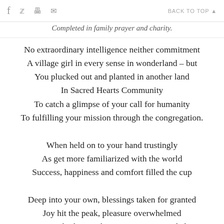f  🐦  🖨  ✉  BACK TO TOP ▲
Completed in family prayer and charity.
No extraordinary intelligence neither commitment
A village girl in every sense in wonderland – but
You plucked out and planted in another land
In Sacred Hearts Community
To catch a glimpse of your call for humanity
To fulfilling your mission through the congregation.
When held on to your hand trustingly
As get more familiarized with the world
Success, happiness and comfort filled the cup
Deep into your own, blessings taken for granted
Joy hit the peak, pleasure overwhelmed
Your Spirit bothering the apparent peace and clarity